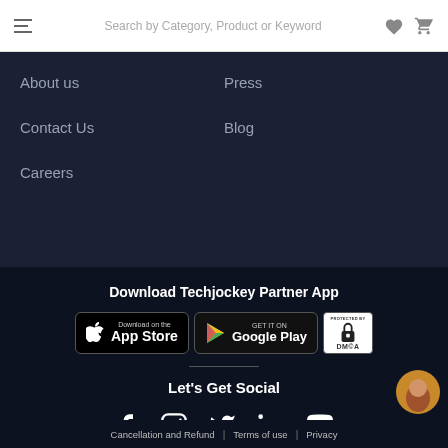Search by Category, Product or Keyword
About us
Press
Contact Us
Blog
Careers
Download Techjockey Partner App
[Figure (screenshot): App Store download badge for iOS]
[Figure (screenshot): Google Play download badge for Android]
[Figure (logo): DMCA Protected badge]
Let's Get Social
[Figure (infographic): Social media icons: Facebook, Instagram, Twitter, LinkedIn, YouTube]
Cancellation and Refund | Terms of use | Privacy